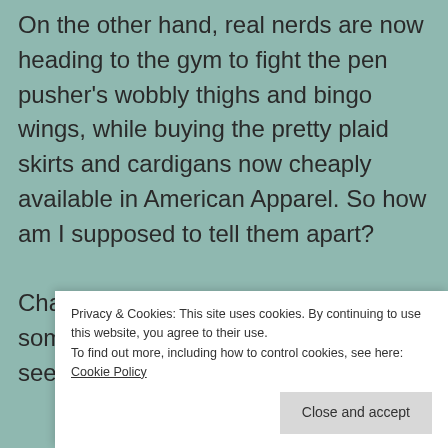On the other hand, real nerds are now heading to the gym to fight the pen pusher's wobbly thighs and bingo wings, while buying the pretty plaid skirts and cardigans now cheaply available in American Apparel. So how am I supposed to tell them apart?

Chances are you will never know if someone is a real nerd until you have seen them walking i...

o...

d...

t...

nodding dog in the back of a car, they might
Privacy & Cookies: This site uses cookies. By continuing to use this website, you agree to their use.
To find out more, including how to control cookies, see here: Cookie Policy